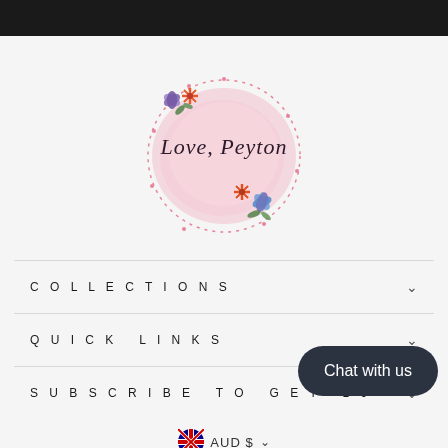[Figure (logo): Love, Peyton logo — circular watercolor pink wash with floral decorations (orange, blue, purple flowers) and cursive script text 'Love, Peyton']
COLLECTIONS
QUICK LINKS
SUBSCRIBE TO GET 10
AUD $
Chat with us